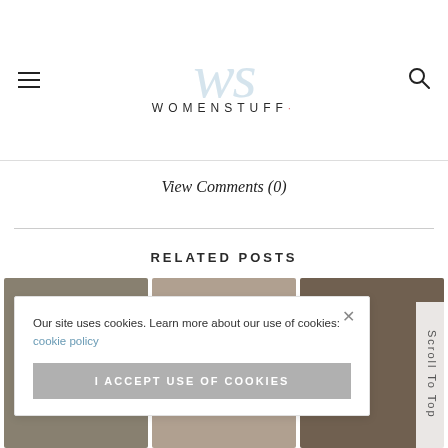[Figure (logo): Womenstuff website logo with stylized 'ws' script monogram in light blue and 'WOMENSTUFF.' text in small caps]
View Comments (0)
RELATED POSTS
[Figure (photo): Related posts thumbnail images row]
Our site uses cookies. Learn more about our use of cookies: cookie policy
I ACCEPT USE OF COOKIES
Scroll To Top